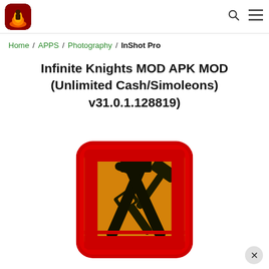Site logo / Home / Search / Menu navigation bar
Home / APPS / Photography / InShot Pro
Infinite Knights MOD APK MOD (Unlimited Cash/Simoleons) v31.0.1.128819)
[Figure (screenshot): App icon showing wrench and hammer tools on an orange background with red rounded square border]